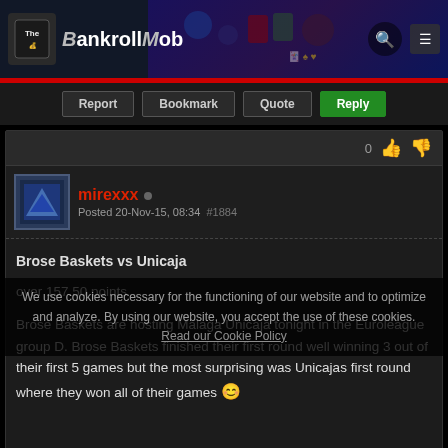The BankrollMob
Report | Bookmark | Quote | Reply
mirexxx • Posted 20-Nov-15, 08:34 #1884
Brose Baskets vs Unicaja

over 157.50 points

Brose Baskets are hosting Malaga Unicaja tonight in the Euroleague group D. Brose Baskets finished their first round well winning 3 out of their first 5 games but the most surprising was Unicajas first round where they won all of their games
Report | Bookmark | Quote | Reply
Understood
nuts1 • Posted 20-Nov-15, 09:20